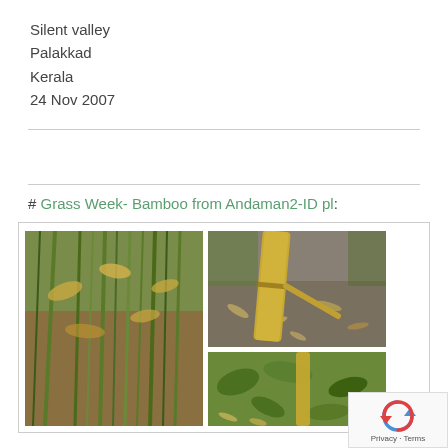Silent valley
Palakkad
Kerala
24 Nov 2007
# Grass Week- Bamboo from Andaman2-ID pl:
[Figure (photo): Three botanical/nature photographs showing bamboo and grass plants. Left photo: close-up of grass/bamboo stems with green blades and dried golden seed heads. Top right: bamboo culm on ground with fallen leaves and seeds. Bottom center-right: green foliage with bamboo and scattered dried seeds on the ground.]
[Figure (other): reCAPTCHA widget with rotating arrows icon and 'Privacy · Terms' text]